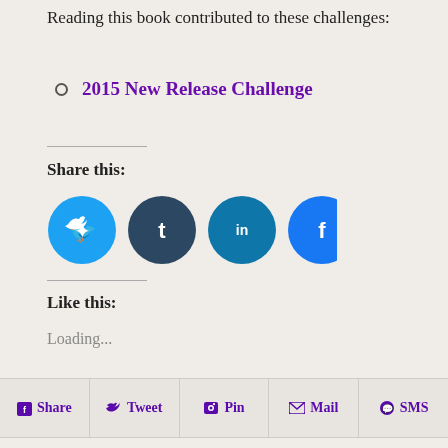Reading this book contributed to these challenges:
2015 New Release Challenge
Share this:
[Figure (infographic): Four circular social media share buttons: Twitter (cyan), Tumblr (dark blue), LinkedIn (teal), Facebook (blue)]
Like this:
Loading...
Share   Tweet   Pin   Mail   SMS
About Linda @ (un)Conventional Bookworms
Linda is an English as foreign language teacher and has a Master's degree in English Language and Literature.